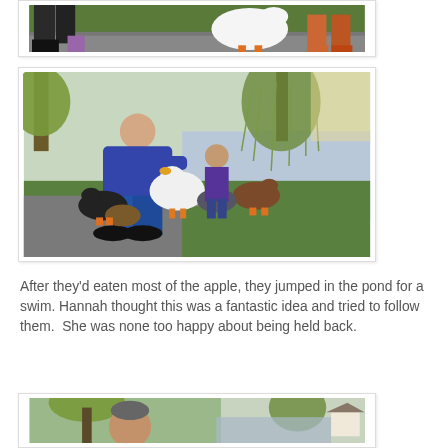[Figure (photo): Partial top photo showing legs of people and a white goose/duck with orange feet on grass/pavement]
[Figure (photo): Man in blue sweater crouching and feeding geese and ducks near a pond in a park, with a small child standing behind him. Willow tree and pond visible in background.]
After they'd eaten most of the apple, they jumped in the pond for a swim. Hannah thought this was a fantastic idea and tried to follow them.  She was none too happy about being held back.
[Figure (photo): Partial bottom photo showing man's head and park/pond background with willow tree and a small building visible]